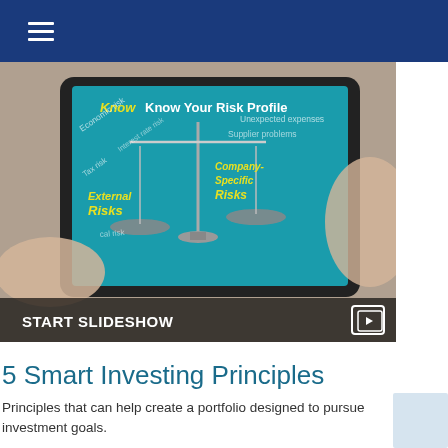[Figure (screenshot): A tablet device displaying a risk profile infographic with a balance scale showing 'External Risks' and 'Company-Specific Risks', and text 'Know Your Risk Profile'. Hands holding the tablet against a blurred background.]
START SLIDESHOW
5 Smart Investing Principles
Principles that can help create a portfolio designed to pursue investment goals.